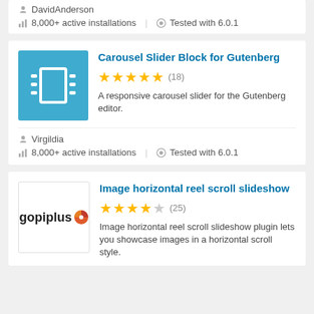8,000+ active installations   Tested with 6.0.1
Carousel Slider Block for Gutenberg
★★★★★ (18)
A responsive carousel slider for the Gutenberg editor.
Virgildia
8,000+ active installations   Tested with 6.0.1
Image horizontal reel scroll slideshow
★★★★☆ (25)
Image horizontal reel scroll slideshow plugin lets you showcase images in a horizontal scroll style.